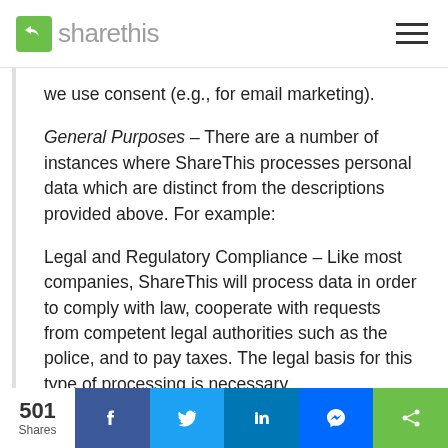sharethis
we use consent (e.g., for email marketing).
General Purposes – There are a number of instances where ShareThis processes personal data which are distinct from the descriptions provided above. For example:
Legal and Regulatory Compliance – Like most companies, ShareThis will process data in order to comply with law, cooperate with requests from competent legal authorities such as the police, and to pay taxes. The legal basis for this type of processing is necessary
501 Shares | Facebook | Twitter | LinkedIn | Messenger | ShareThis